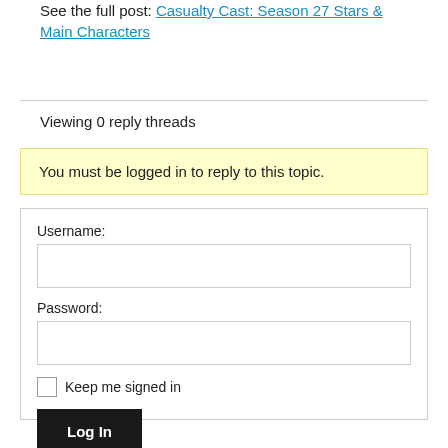See the full post: Casualty Cast: Season 27 Stars & Main Characters
Viewing 0 reply threads
You must be logged in to reply to this topic.
Username:
Password:
Keep me signed in
Log In